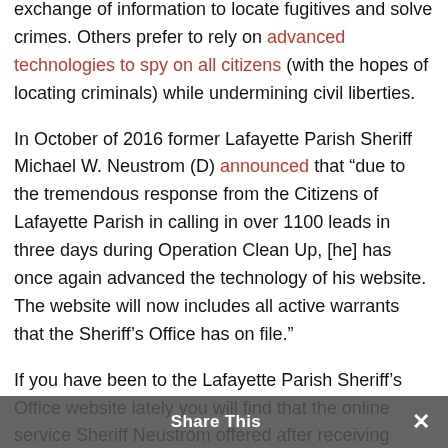exchange of information to locate fugitives and solve crimes. Others prefer to rely on advanced technologies to spy on all citizens (with the hopes of locating criminals) while undermining civil liberties.
In October of 2016 former Lafayette Parish Sheriff Michael W. Neustrom (D) announced that “due to the tremendous response from the Citizens of Lafayette Parish in calling in over 1100 leads in three days during Operation Clean Up, [he] has once again advanced the technology of his website. The website will now includes all active warrants that the Sheriff’s Office has on file.”
If you have been to the Lafayette Parish Sheriff’s Office website lately you will find that the online service Sheriff Neustrom offered after receiving tremendous assistance from the public is no longer available. According to information contained on the website of Sheriff Mark Garber (R) is to advise the
Share This